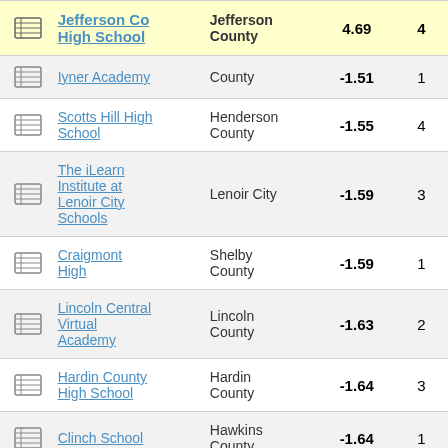|  | School | District | Score | Rank |
| --- | --- | --- | --- | --- |
| [icon] | Jefferson Co High School | Jefferson County | 4.69 | 4 |
| [icon] | Iyner Academy | County | -1.51 | 1 |
| [icon] | Scotts Hill High School | Henderson County | -1.55 | 4 |
| [icon] | The iLearn Institute at Lenoir City Schools | Lenoir City | -1.59 | 3 |
| [icon] | Craigmont High | Shelby County | -1.59 | 1 |
| [icon] | Lincoln Central Virtual Academy | Lincoln County | -1.63 | 2 |
| [icon] | Hardin County High School | Hardin County | -1.64 | 3 |
| [icon] | Clinch School | Hawkins County | -1.64 | 1 |